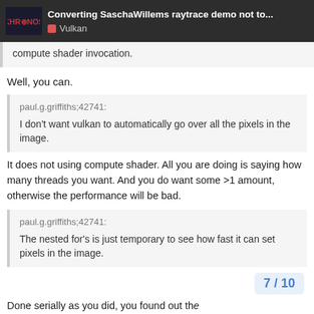Converting SaschaWillems raytrace demo not to... Vulkan
compute shader invocation.
Well, you can.
paul.g.griffiths;42741: I don't want vulkan to automatically go over all the pixels in the image.
It does not using compute shader. All you are doing is saying how many threads you want. And you do want some >1 amount, otherwise the performance will be bad.
paul.g.griffiths;42741: The nested for's is just temporary to see how fast it can set pixels in the image.
Done serially as you did, you found out th…
7 / 10